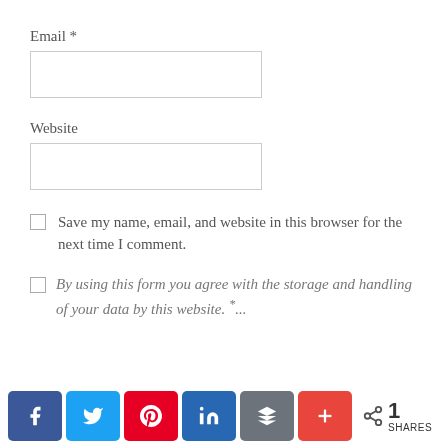Email *
[Figure (other): Empty text input field for Email]
Website
[Figure (other): Empty text input field for Website]
Save my name, email, and website in this browser for the next time I comment.
By using this form you agree with the storage and handling of your data by this website. *...
[Figure (infographic): Social share bar with Facebook, Twitter, Pinterest, LinkedIn, Buffer, and a plus button. Shows 1 SHARES count.]